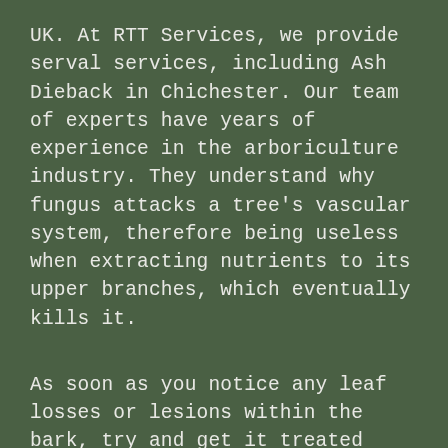UK. At RTT Services, we provide serval services, including Ash Dieback in Chichester. Our team of experts have years of experience in the arboriculture industry. They understand why fungus attacks a tree's vascular system, therefore being useless when extracting nutrients to its upper branches, which eventually kills it.
As soon as you notice any leaf losses or lesions within the bark, try and get it treated correctly as quickly as possible. Ignoring the initial warning signs can be